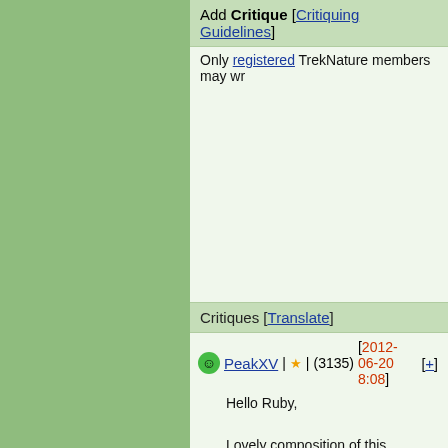Add Critique [Critiquing Guidelines]
Only registered TrekNature members may wr...
Critiques [Translate]
PeakXV | ★ | (3135) [2012-06-20 8:08] [+]
Hello Ruby,

Lovely composition of this beautiful Dash... abdomen. Choice pov for the acrobatic p...

Regards,

Derek
tuslaw | ★ | (19883) [2012-06-20 19:27] [+]
Hello Ruby,
It's great to see you are really getting aqu... Tenn. This is a great shot of the Blue Das... color and framing along with some fine u... I will be out of town for the next few week...